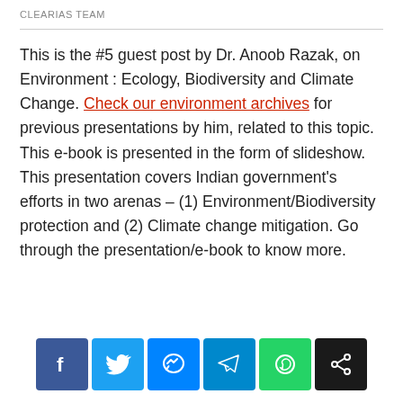CLEARIAS TEAM
This is the #5 guest post by Dr. Anoob Razak, on Environment : Ecology, Biodiversity and Climate Change. Check our environment archives for previous presentations by him, related to this topic. This e-book is presented in the form of slideshow. This presentation covers Indian government's efforts in two arenas – (1) Environment/Biodiversity protection and (2) Climate change mitigation. Go through the presentation/e-book to know more.
[Figure (infographic): Social media share buttons: Facebook, Twitter, Messenger, Telegram, WhatsApp, Share]